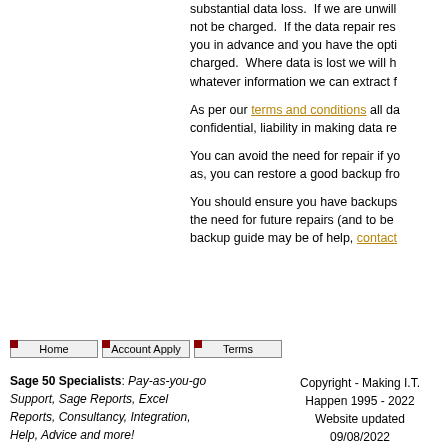substantial data loss. If we are unwilling not be charged. If the data repair res you in advance and you have the opti charged. Where data is lost we will h whatever information we can extract f
As per our terms and conditions all da confidential, liability in making data re
You can avoid the need for repair if yo as, you can restore a good backup fro
You should ensure you have backups the need for future repairs (and to be backup guide may be of help, contact
Home
Account Apply
Terms
Sage 50 Specialists: Pay-as-you-go Support, Sage Reports, Excel Reports, Consultancy, Integration, Help, Advice and more!
Copyright - Making I.T. Happen 1995 - 2022 Website updated 09/08/2022